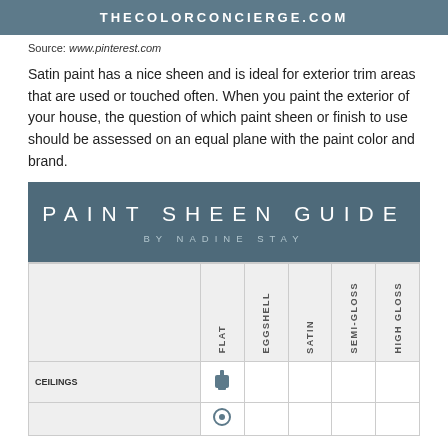THECOLORCONCIERGE.COM
Source: www.pinterest.com
Satin paint has a nice sheen and is ideal for exterior trim areas that are used or touched often. When you paint the exterior of your house, the question of which paint sheen or finish to use should be assessed on an equal plane with the paint color and brand.
[Figure (infographic): Paint Sheen Guide by Nadine Stay infographic with a dark teal/blue header and a table showing paint sheen types (Flat, Eggshell, Satin, Semi-Gloss, High Gloss) vs. areas (Ceilings, etc.)]